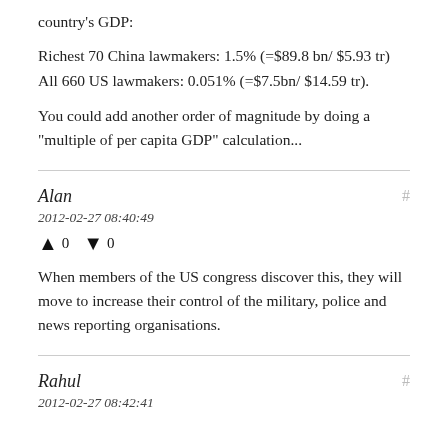country's GDP:
Richest 70 China lawmakers: 1.5% (=$89.8 bn/ $5.93 tr)
All 660 US lawmakers: 0.051% (=$7.5bn/ $14.59 tr).
You could add another order of magnitude by doing a "multiple of per capita GDP" calculation...
Alan
2012-02-27 08:40:49
▲ 0 ▼ 0
When members of the US congress discover this, they will move to increase their control of the military, police and news reporting organisations.
Rahul
2012-02-27 08:42:41